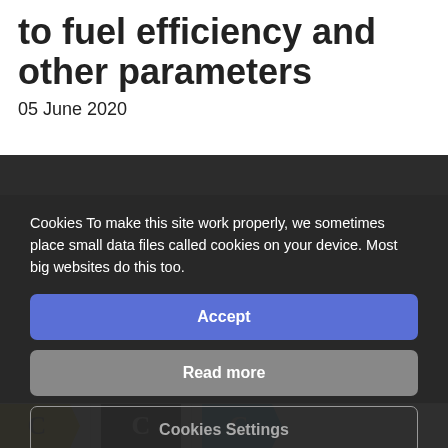to fuel efficiency and other parameters
05 June 2020
Cookies To make this site work properly, we sometimes place small data files called cookies on your device. Most big websites do this too.
Accept
Read more
Cookies Settings
[Figure (screenshot): Bottom strip with three publisher logos on white background]